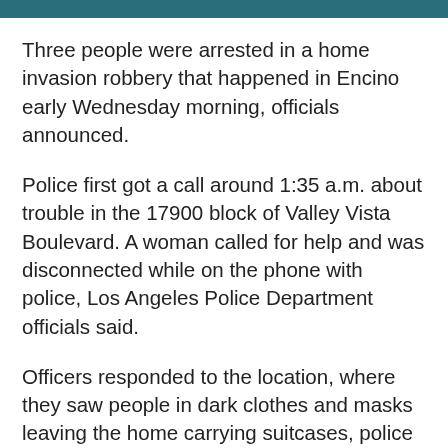[Figure (photo): Dark/teal colored banner image at the top of the page]
Three people were arrested in a home invasion robbery that happened in Encino early Wednesday morning, officials announced.
Police first got a call around 1:35 a.m. about trouble in the 17900 block of Valley Vista Boulevard. A woman called for help and was disconnected while on the phone with police, Los Angeles Police Department officials said.
Officers responded to the location, where they saw people in dark clothes and masks leaving the home carrying suitcases, police said.
The suspects then immediately ran away and police set up a perimeter and brought in K-9